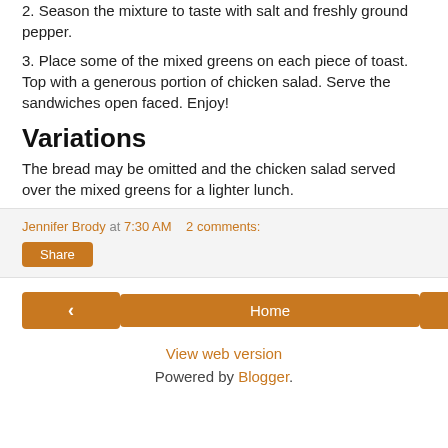2. Season the mixture to taste with salt and freshly ground pepper.
3. Place some of the mixed greens on each piece of toast. Top with a generous portion of chicken salad. Serve the sandwiches open faced. Enjoy!
Variations
The bread may be omitted and the chicken salad served over the mixed greens for a lighter lunch.
Jennifer Brody at 7:30 AM   2 comments:
Share
‹   Home   ›
View web version
Powered by Blogger.